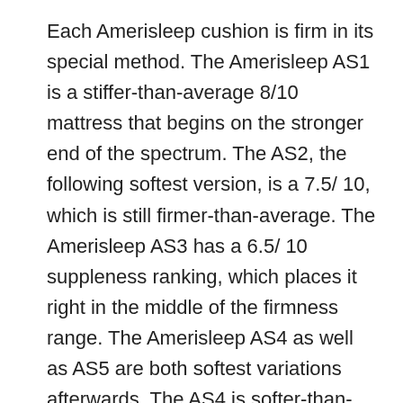Each Amerisleep cushion is firm in its special method. The Amerisleep AS1 is a stiffer-than-average 8/10 mattress that begins on the stronger end of the spectrum. The AS2, the following softest version, is a 7.5/ 10, which is still firmer-than-average. The Amerisleep AS3 has a 6.5/ 10 suppleness ranking, which places it right in the middle of the firmness range. The Amerisleep AS4 as well as AS5 are both softest variations afterwards. The AS4 is softer-than-average at 6/10, and also the AS5 is softer-than-average at 5.5/ 10.
Having claimed that, the firmness of these cushions will certainly be highly dependent on your height and weight. On the one hand, these mattresses might feel stronger when you push deeper into the